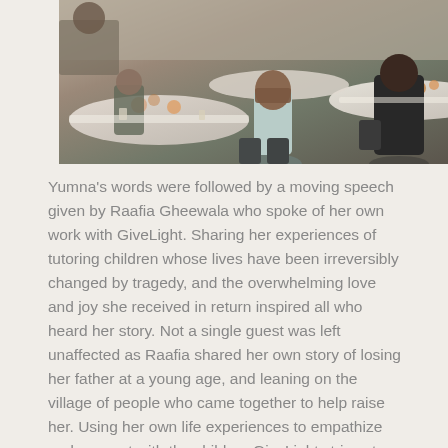[Figure (photo): Event photo showing people seated at round tables covered with white tablecloths, with floral centerpieces. A woman in a light blue outfit is seen from behind, seated at a table in the center. Other guests are visible in the background at what appears to be a formal dinner or luncheon event.]
Yumna's words were followed by a moving speech given by Raafia Gheewala who spoke of her own work with GiveLight. Sharing her experiences of tutoring children whose lives have been irreversibly changed by tragedy, and the overwhelming love and joy she received in return inspired all who heard her story. Not a single guest was left unaffected as Raafia shared her own story of losing her father at a young age, and leaning on the village of people who came together to help raise her. Using her own life experiences to empathize and connect with the children GiveLight strives to nurture, Raafia inspired all of us to take a moment and reflect on all those who helped raise us, and how we can give back in our own ways.